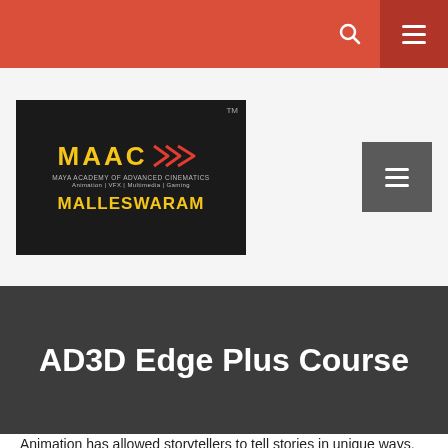MAAC Malleswaram — Navigation bar with search and menu icons
[Figure (logo): MAAC (Maya Academy of Advanced Cinematics) Malleswaram logo on dark background with yellow text and red arrow design. Tagline: Animation | VFX | Multimedia | Gaming]
AD3D Edge Plus Course
Animation has allowed storytellers to tell stories in unique ways. The fantastical worlds in animated films, cartoons or shows can enthral audiences across all age groups. The wonders of animation can bring alive ideas, characters, and all kinds of stories. With MAAC's flagship course, AD3D EDGE PLUS...